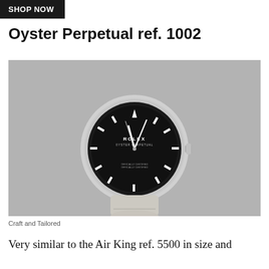SHOP NOW
Oyster Perpetual ref. 1002
[Figure (photo): A Rolex Oyster Perpetual ref. 1002 watch with a black dial, stainless steel case, and a light grey/white leather strap, photographed against a grey background.]
Craft and Tailored
Very similar to the Air King ref. 5500 in size and